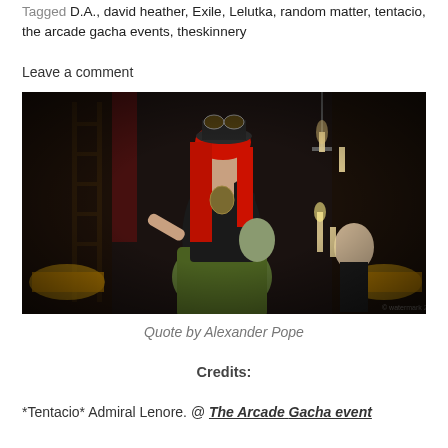Tagged D.A., david heather, Exile, Lelutka, random matter, tentacio, the arcade gacha events, theskinnery
Leave a comment
[Figure (photo): Steampunk woman with red hair, black corset, green skirt, goggles on hat, in a dark library setting with candles, ladder, and two doll/puppet figures.]
Quote by Alexander Pope
Credits:
*Tentacio* Admiral Lenore. @ The Arcade Gacha event